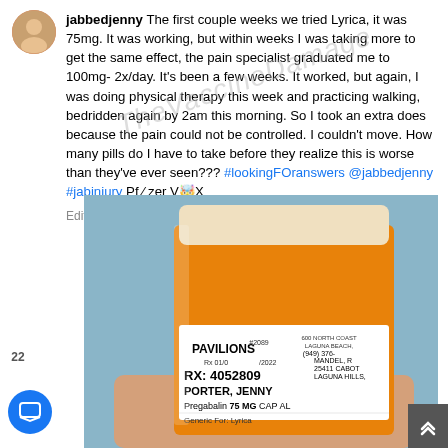jabbedjenny The first couple weeks we tried Lyrica, it was 75mg. It was working, but within weeks I was taking more to get the same effect, the pain specialist graduated me to 100mg- 2x/day. It's been a few weeks. It worked, but again, I was doing physical therapy this week and practicing walking, bedridden again by 2am this morning. So I took an extra does because the pain could not be controlled. I couldn't move. How many pills do I have to take before they realize this is worse than they've ever seen??? #lookingFOranswers @jabbedjenny #jabinjury Pf / zer V 🤬 X
Edited · 1w
[Figure (photo): Photo of an orange prescription pill bottle held in a hand. Label reads: PAVILIONS, #2089, 600 NORTH COAST, LAGUNA BEACH, (949) 376-[partially visible], Rx 01/0[?]/2022, MANDEL, R[partially visible], 25411 CABOT [?], LAGUNA HILLS, RX: 4052809, PORTER, JENNY, Pregabalin 75 MG CAP AL[?], Generic For: Lyrica. Background is a blue textured surface.]